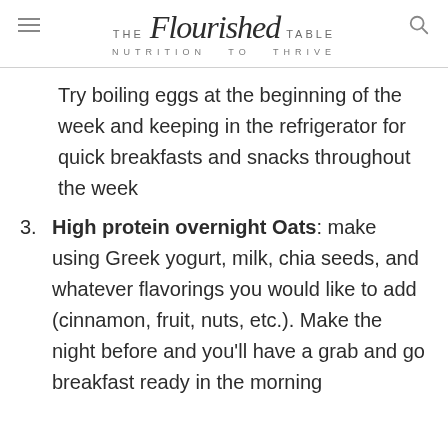THE Flourished TABLE | NUTRITION TO THRIVE
Try boiling eggs at the beginning of the week and keeping in the refrigerator for quick breakfasts and snacks throughout the week
3. High protein overnight Oats: make using Greek yogurt, milk, chia seeds, and whatever flavorings you would like to add (cinnamon, fruit, nuts, etc.). Make the night before and you'll have a grab and go breakfast ready in the morning